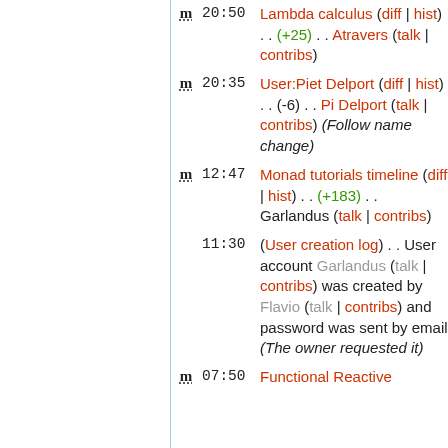m 20:50 Lambda calculus (diff | hist) . . (+25) . . Atravers (talk | contribs)
m 20:35 User:Piet Delport (diff | hist) . . (-6) . . Pi Delport (talk | contribs) (Follow name change)
m 12:47 Monad tutorials timeline (diff | hist) . . (+183) . . Garlandus (talk | contribs)
11:30 (User creation log) . . User account Garlandus (talk | contribs) was created by Flavio (talk | contribs) and password was sent by email (The owner requested it)
m 07:50 Functional Reactive...